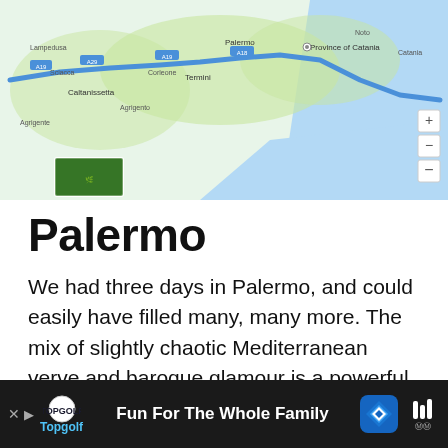[Figure (map): Google Maps screenshot showing route through Sicily, Italy, with a blue route line passing through Caltanissetta, Palermo area, towards Province of Catania on the right side. Map shows road labels and towns in Italian.]
Palermo
We had three days in Palermo, and could easily have filled many, many more. The mix of slightly chaotic Mediterranean verve and baroque glamour is a powerful combination – stimulating yet refined. But Palermo offers something even more fascinating – the Arab-Norman architectural heritage, uniting Latin B...
[Figure (screenshot): Advertisement bar at bottom: dark background with Topgolf logo, 'Fun For The Whole Family' text, Topgolf brand name in blue, navigation arrow icon, and audio/wifi icon on right.]